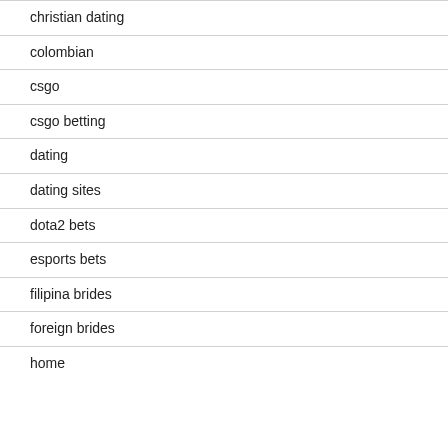christian dating
colombian
csgo
csgo betting
dating
dating sites
dota2 bets
esports bets
filipina brides
foreign brides
home